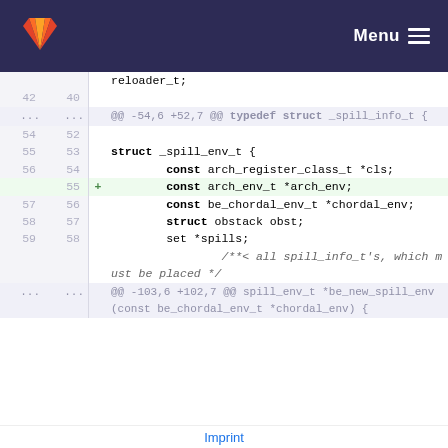GitLab Menu
reloader_t;
42 40
... ... @@ -54,6 +52,7 @@ typedef struct _spill_info_t {
54 52
55 53 struct _spill_env_t {
56 54         const arch_register_class_t *cls;
   55 +         const arch_env_t *arch_env;
57 56         const be_chordal_env_t *chordal_env;
58 57         struct obstack obst;
59 58         set *spills;
                 /**< all spill_info_t's, which must be placed */
... ... @@ -103,6 +102,7 @@ spill_env_t *be_new_spill_env(const be_chordal_env_t *chordal_env) {
Imprint